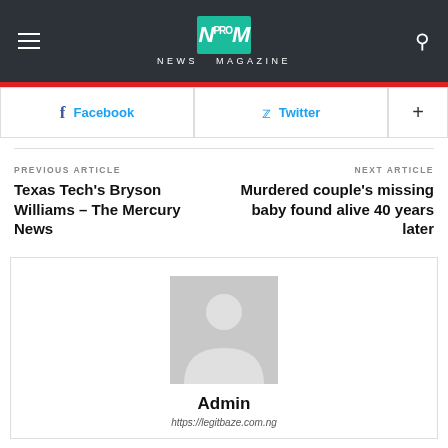NEWS MAGAZINE
Facebook  Twitter  +
PREVIOUS ARTICLE
Texas Tech's Bryson Williams – The Mercury News
NEXT ARTICLE
Murdered couple's missing baby found alive 40 years later
[Figure (illustration): Generic user avatar placeholder — gray silhouette of a person on gray background]
Admin
https://legitbaze.com.ng